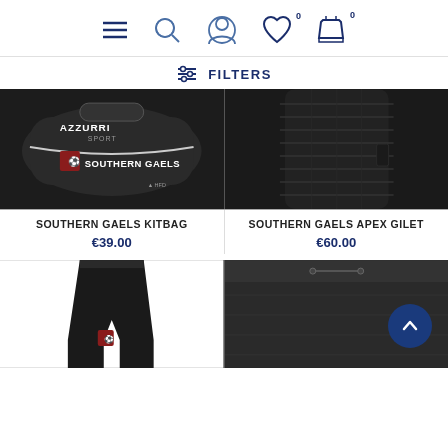Navigation bar with hamburger menu, search, account, wishlist (0), and cart (0) icons
FILTERS
[Figure (photo): Black kitbag with Southern Gaels branding and Azzurri Sport logo]
[Figure (photo): Black quilted gilet jacket close-up]
SOUTHERN GAELS KITBAG
€39.00
SOUTHERN GAELS APEX GILET
€60.00
[Figure (photo): Black compression/cycling shorts with Southern Gaels badge]
[Figure (photo): Black shorts close-up]